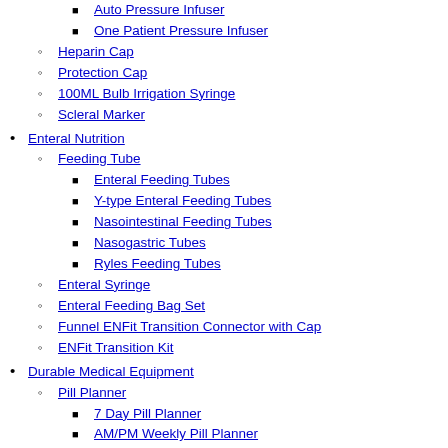Auto Pressure Infuser
One Patient Pressure Infuser
Heparin Cap
Protection Cap
100ML Bulb Irrigation Syringe
Scleral Marker
Enteral Nutrition
Feeding Tube
Enteral Feeding Tubes
Y-type Enteral Feeding Tubes
Nasointestinal Feeding Tubes
Nasogastric Tubes
Ryles Feeding Tubes
Enteral Syringe
Enteral Feeding Bag Set
Funnel ENFit Transition Connector with Cap
ENFit Transition Kit
Durable Medical Equipment
Pill Planner
7 Day Pill Planner
AM/PM Weekly Pill Planner
4-A-Day Weekly Pill Planner
Emesis Bag
Emesis Bag Dispenser
Male Urinal